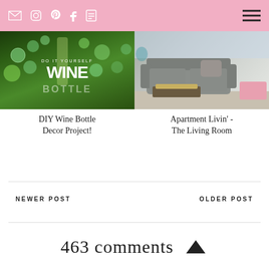Social icons: email, instagram, pinterest, facebook, blog | hamburger menu
[Figure (photo): DIY Wine Bottle Decor Project thumbnail image with green bottle and beads, text overlay: DO IT YOURSELF WINE BOTTLE]
DIY Wine Bottle Decor Project!
[Figure (photo): Apartment living room photo showing gray sofa, coffee table, and pink ottoman]
Apartment Livin' - The Living Room
NEWER POST
OLDER POST
463 comments